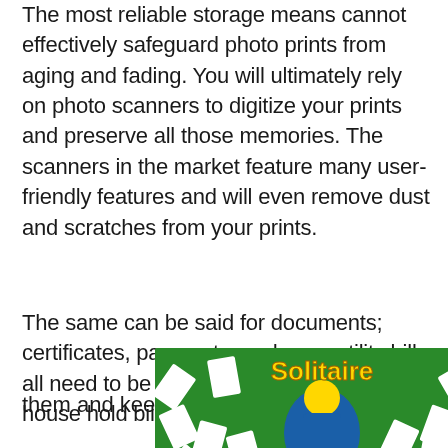The most reliable storage means cannot effectively safeguard photo prints from aging and fading. You will ultimately rely on photo scanners to digitize your prints and preserve all those memories. The scanners in the market feature many user-friendly features and will even remove dust and scratches from your prints.
The same can be said for documents; certificates, passports, and even utility bills all need to be kept safe. Particularly with house hold bills, scanning them and keeping a digital record will free up
[Figure (screenshot): Advertisement banner for a Solitaire game app. Green background with playing cards scattered around. Shows 'Solitaire' title in yellow text and a 'Play Now!' button. Title 'Solitaire' also appears in blue to the right of the banner.]
Ad